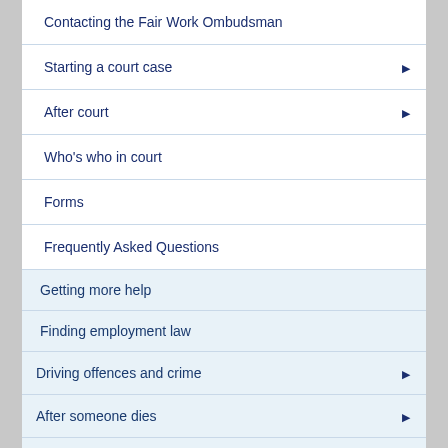Contacting the Fair Work Ombudsman
Starting a court case ▶
After court ▶
Who's who in court
Forms
Frequently Asked Questions
Getting more help
Finding employment law
Driving offences and crime ▶
After someone dies ▶
Noise ▶
Divorce ▶
Restitution ▶
What type of employee am I?